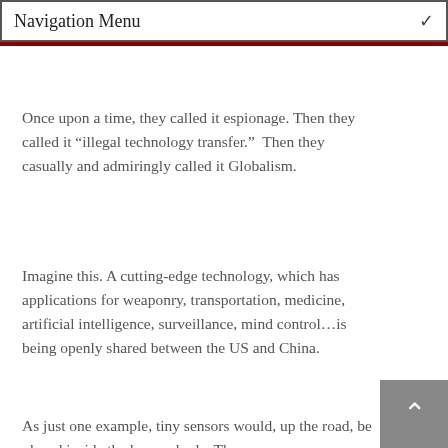Navigation Menu
Once upon a time, they called it espionage. Then they called it “illegal technology transfer.”  Then they casually and admiringly called it Globalism.
Imagine this. A cutting-edge technology, which has applications for weaponry, transportation, medicine, artificial intelligence, surveillance, mind control…is being openly shared between the US and China.
As just one example, tiny sensors would, up the road, be placed inside the human body. These sensors automatically monitor and report thousands of changes, in real time, in the body—as a way of diagnosing diseases. The sensors will transmit all this information